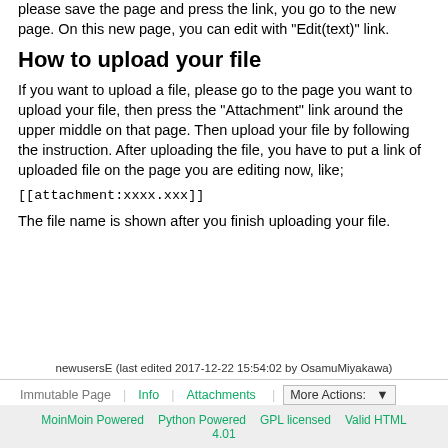please save the page and press the link, you go to the new page. On this new page, you can edit with "Edit(text)" link.
How to upload your file
If you want to upload a file, please go to the page you want to upload your file, then press the "Attachment" link around the upper middle on that page. Then upload your file by following the instruction. After uploading the file, you have to put a link of uploaded file on the page you are editing now, like;
The file name is shown after you finish uploading your file.
newusersE (last edited 2017-12-22 15:54:02 by OsamuMiyakawa)
Immutable Page   Info   Attachments   More Actions:
MoinMoin Powered   Python Powered   GPL licensed   Valid HTML 4.01